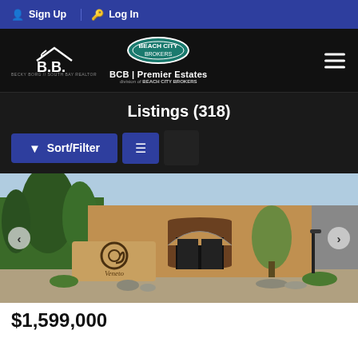Sign Up | Log In
[Figure (logo): B.B. (Becky Boro South Bay Realtor) logo and BCB Premier Estates / Beach City Brokers logo]
Listings (318)
Sort/Filter
[Figure (photo): Exterior photo of a Mediterranean-style estate with a stone sign reading 'Veneto', arched entryway, olive tree, and lush landscaping]
$1,599,000